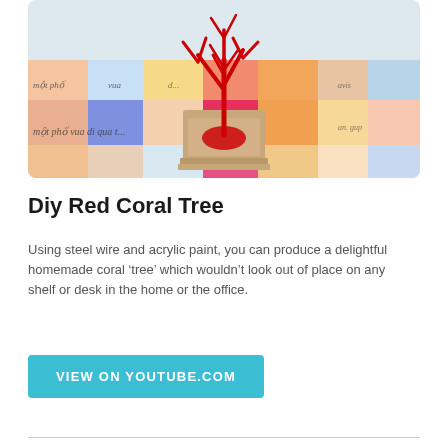[Figure (photo): A DIY red coral tree made from steel wire and acrylic paint, standing on a small wooden base placed on a colorful grid layout of paint swatches with foreign-language text visible underneath.]
Diy Red Coral Tree
Using steel wire and acrylic paint, you can produce a delightful homemade coral ‘tree’ which wouldn’t look out of place on any shelf or desk in the home or the office.
VIEW ON YOUTUBE.COM